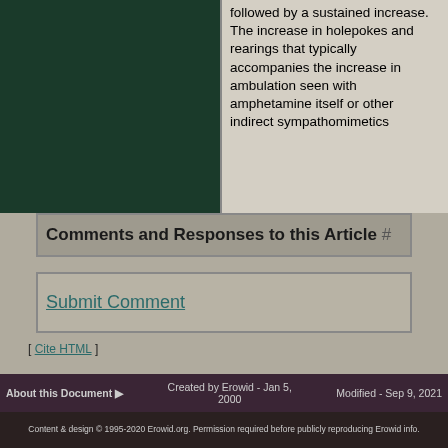[Figure (other): Dark green rectangular box on the left side of the top section]
followed by a sustained increase. The increase in holepokes and rearings that typically accompanies the increase in ambulation seen with amphetamine itself or other indirect sympathomimetics
Comments and Responses to this Article #
Submit Comment
[ Cite HTML ]
[ back to references ]
About this Document ▶   Created by Erowid - Jan 5, 2000   Modified - Sep 9, 2021
Content & design © 1995-2020 Erowid.org. Permission required before publicly reproducing Erowid info.